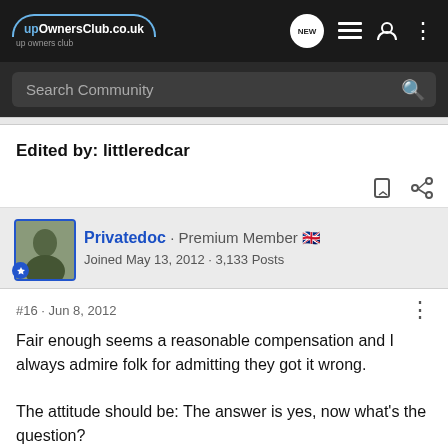upOwnersClub.co.uk
Search Community
Edited by: littleredcar
Privatedoc · Premium Member 🇬🇧
Joined May 13, 2012 · 3,133 Posts
#16 · Jun 8, 2012
Fair enough seems a reasonable compensation and I always admire folk for admitting they got it wrong.

The attitude should be: The answer is yes, now what's the question?